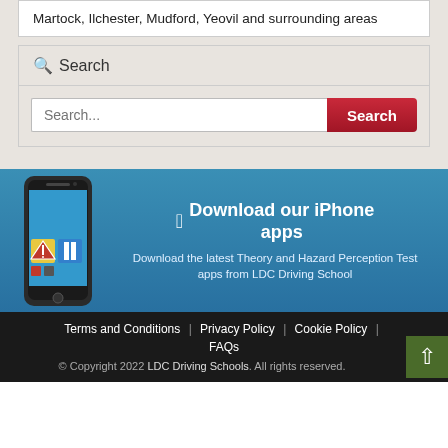Martock, Ilchester, Mudford, Yeovil and surrounding areas
Search
Search...
[Figure (infographic): iPhone app advertisement banner with Apple logo, phone image showing driving test app screens, and text: Download our iPhone apps. Download the latest Theory and Hazard Perception Test apps from LDC Driving School]
Terms and Conditions | Privacy Policy | Cookie Policy | FAQs
© Copyright 2022 LDC Driving Schools. All rights reserved.